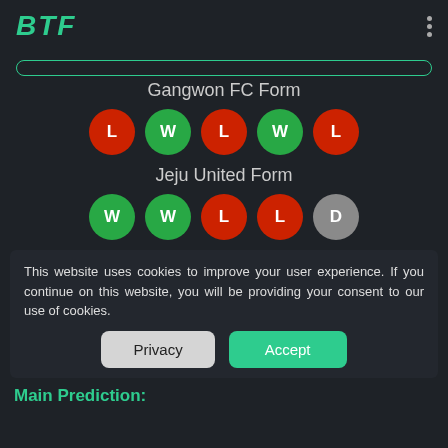BTF
Gangwon FC Form
[Figure (infographic): Gangwon FC form badges: L (red), W (green), L (red), W (green), L (red)]
Jeju United Form
[Figure (infographic): Jeju United form badges: W (green), W (green), L (red), L (red), D (gray)]
This website uses cookies to improve your user experience. If you continue on this website, you will be providing your consent to our use of cookies.
Main Prediction: